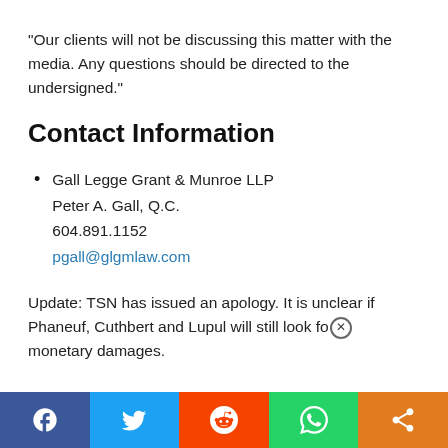“Our clients will not be discussing this matter with the media. Any questions should be directed to the undersigned.”
Contact Information
Gall Legge Grant & Munroe LLP
Peter A. Gall, Q.C.
604.891.1152
pgall@glgmlaw.com
Update: TSN has issued an apology. It is unclear if Phaneuf, Cuthbert and Lupul will still look for monetary damages.